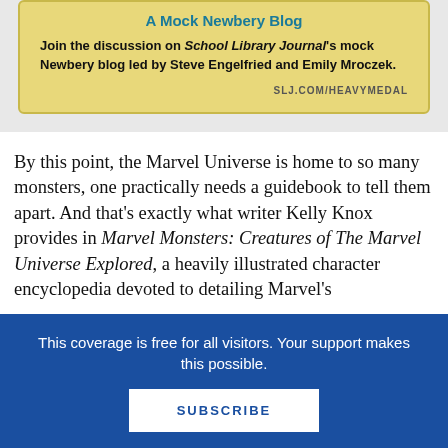[Figure (infographic): Yellow/tan card advertisement for A Mock Newbery Blog on School Library Journal, with URL SLJ.COM/HEAVYMEDAL]
By this point, the Marvel Universe is home to so many monsters, one practically needs a guidebook to tell them apart. And that’s exactly what writer Kelly Knox provides in Marvel Monsters: Creatures of The Marvel Universe Explored, a heavily illustrated character encyclopedia devoted to detailing Marvel’s
This coverage is free for all visitors. Your support makes this possible.
SUBSCRIBE